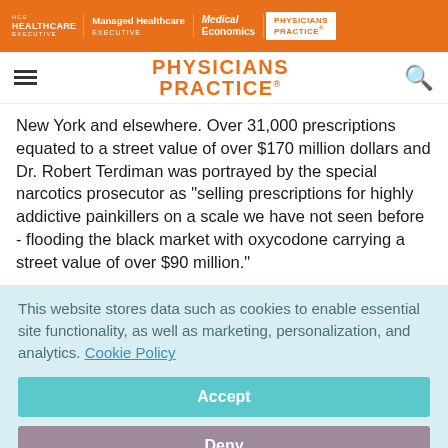HCE Healthcare Executive | Managed Healthcare Executive | Medical Economics | Physicians Practice
PHYSICIANS PRACTICE
New York and elsewhere. Over 31,000 prescriptions equated to a street value of over $170 million dollars and Dr. Robert Terdiman was portrayed by the special narcotics prosecutor as "selling prescriptions for highly addictive painkillers on a scale we have not seen before - flooding the black market with oxycodone carrying a street value of over $90 million."
This website stores data such as cookies to enable essential site functionality, as well as marketing, personalization, and analytics. Cookie Policy
Accept
Deny